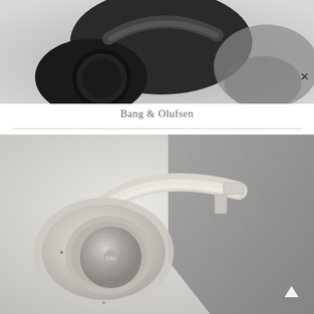[Figure (photo): Close-up photo of dark/black over-ear headphones against a light gray background, partially showing a grey fabric accessory pouch]
Bang & Olufsen
[Figure (photo): Photo of light grey/sandstone colored over-ear Bang & Olufsen headphones laid on a grey fabric surface, showing the B&O logo on the ear cup]